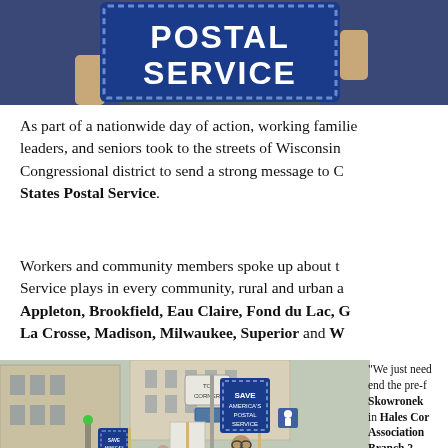[Figure (photo): Photo of people holding 'Save America's Postal Service' signs, cropped showing hands and upper portion of signs against a dark background]
As part of a nationwide day of action, working families, leaders, and seniors took to the streets of Wisconsin's Congressional district to send a strong message to Congress: Save the United States Postal Service.
Workers and community members spoke up about the vital role the Postal Service plays in every community, rural and urban alike, in Appleton, Brookfield, Eau Claire, Fond du Lac, Green Bay, La Crosse, Madison, Milwaukee, Superior and Wausau.
[Figure (photo): Street protest photo showing people holding Save America's Postal Service signs on a city sidewalk]
"We just need Congress to end the pre-funding mandate," Skowronek of the NALC in Hales Corners, National Association of Letter Carriers Branch 2. The fate of the USPS is a concern to everyone.